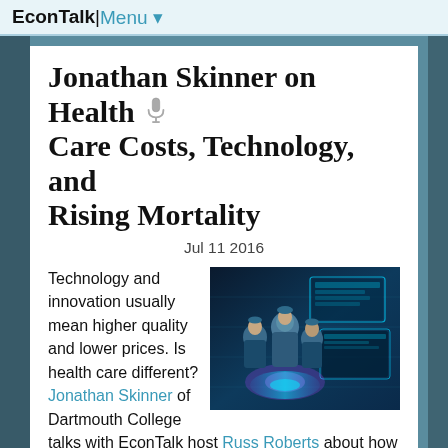EconTalk | Menu ▼
Jonathan Skinner on Health Care Costs, Technology, and Rising Mortality
Jul 11 2016
[Figure (photo): Medical professionals in surgical gowns with futuristic holographic displays in background]
Technology and innovation usually mean higher quality and lower prices. Is health care different? Jonathan Skinner of Dartmouth College talks with EconTalk host Russ Roberts about how technology and innovation affect the